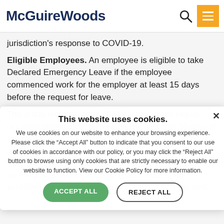McGuireWoods
jurisdiction's response to COVID-19.
Eligible Employees. An employee is eligible to take Declared Emergency Leave if the employee commenced work for the employer at least 15 days before the request for leave.
This is different from other ASSLA leave, which begins occurring immediately, but is available only after 90 days of employment.
Reasons for Leave. An employee may take Declared Emergency Leave if absence from work due to any of the six PFCRA-protected reasons. Those reasons are explained in greater detail in a prior McGuireWoods alert.
This website uses cookies.
We use cookies on our website to enhance your browsing experience. Please click the "Accept All" button to indicate that you consent to our use of cookies in accordance with our policy, or you may click the "Reject All" button to browse using only cookies that are strictly necessary to enable our website to function. View our Cookie Policy for more information.
ACCEPT ALL
REJECT ALL